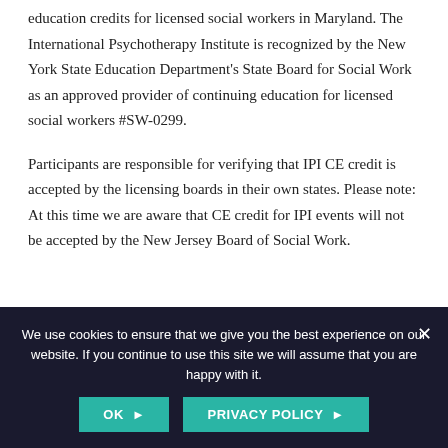education credits for licensed social workers in Maryland. The International Psychotherapy Institute is recognized by the New York State Education Department's State Board for Social Work as an approved provider of continuing education for licensed social workers #SW-0299.

Participants are responsible for verifying that IPI CE credit is accepted by the licensing boards in their own states. Please note: At this time we are aware that CE credit for IPI events will not be accepted by the New Jersey Board of Social Work.
[Figure (logo): Approved Continuing Education Provider circular badge/seal with globe icon]
[Figure (logo): NASW logo mark — blue stylized N letterform in a rectangular box]
We use cookies to ensure that we give you the best experience on our website. If you continue to use this site we will assume that you are happy with it.